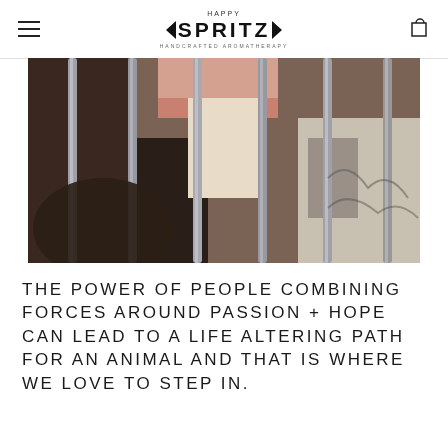HAPPY SPRITZ HANDCRAFTED AROMATHERAPY
[Figure (photo): A close-up photo of an animal (appears to be a dog) visible through metal cage bars, with colorful fabric or bedding visible in the background.]
THE POWER OF PEOPLE COMBINING FORCES AROUND PASSION + HOPE CAN LEAD TO A LIFE ALTERING PATH FOR AN ANIMAL AND THAT IS WHERE WE LOVE TO STEP IN.